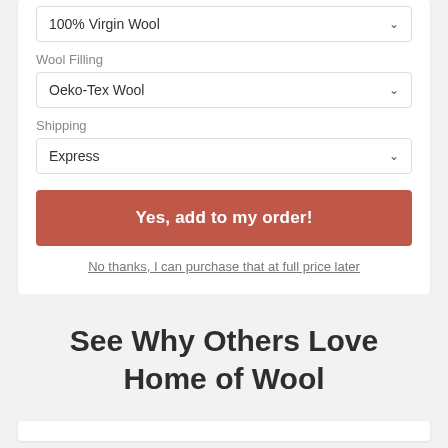100% Virgin Wool
Wool Filling
Oeko-Tex Wool
Shipping
Express
Yes, add to my order!
No thanks, I can purchase that at full price later
See Why Others Love Home of Wool